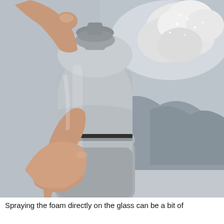[Figure (photo): Close-up photograph of a hand holding a gray aerosol spray can, spraying white foam onto a glass surface. The background shows a snowy winter outdoor scene through the glass.]
Spraying the foam directly on the glass can be a bit of